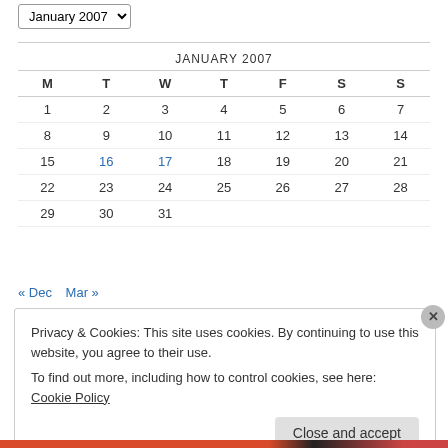| M | T | W | T | F | S | S |
| --- | --- | --- | --- | --- | --- | --- |
| 1 | 2 | 3 | 4 | 5 | 6 | 7 |
| 8 | 9 | 10 | 11 | 12 | 13 | 14 |
| 15 | 16 | 17 | 18 | 19 | 20 | 21 |
| 22 | 23 | 24 | 25 | 26 | 27 | 28 |
| 29 | 30 | 31 |  |  |  |  |
« Dec   Mar »
Privacy & Cookies: This site uses cookies. By continuing to use this website, you agree to their use. To find out more, including how to control cookies, see here: Cookie Policy